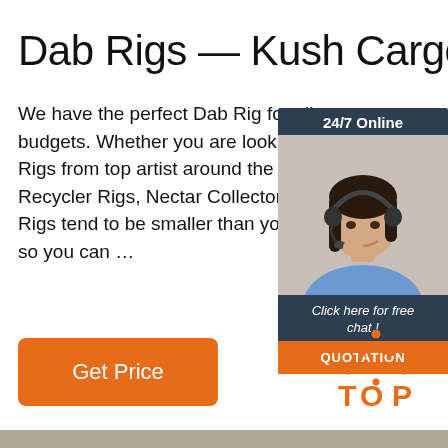Dab Rigs — Kush Cargo
We have the perfect Dab Rig for all nee budgets. Whether you are looking for so Rigs from top artist around the world, Po Recycler Rigs, Nectar Collectors, we ha Rigs tend to be smaller than your norma so you can …
[Figure (photo): Customer support representative — woman with headset smiling, with 24/7 Online header, 'Click here for free chat!' and QUOTATION button on dark background panel]
Get Price
[Figure (logo): TOP logo with orange dotted triangle above the word TOP in orange with a dot over the O]